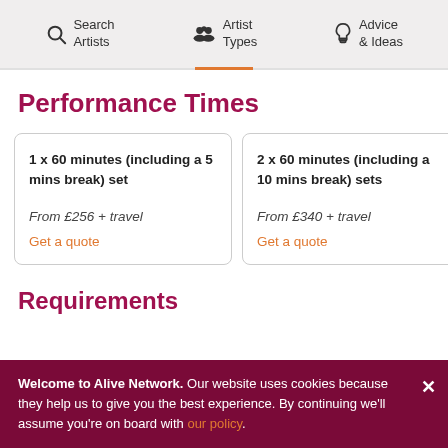Search Artists | Artist Types | Advice & Ideas
Performance Times
1 x 60 minutes (including a 5 mins break) set
From £256 + travel
Get a quote
2 x 60 minutes (including a 10 mins break) sets
From £340 + travel
Get a quote
3 x … 15 m…
From…
Get…
Requirements
Welcome to Alive Network. Our website uses cookies because they help us to give you the best experience. By continuing we'll assume you're on board with our policy.